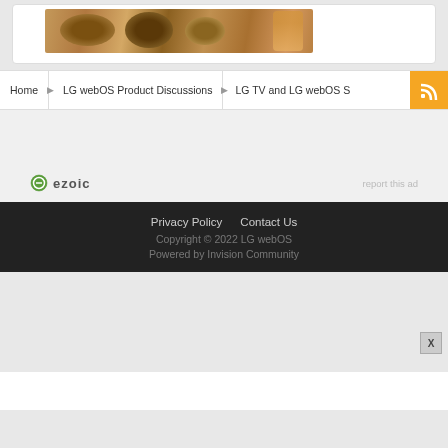[Figure (photo): Food photo showing plates with breakfast/brunch items on a wooden surface]
Home > LG webOS Product Discussions > LG TV and LG webOS S...
[Figure (logo): Ezoic logo with green circular icon and text 'ezoic']
report this ad
Privacy Policy   Contact Us
Copyright © 2022 LG webOS
Powered by Invision Community